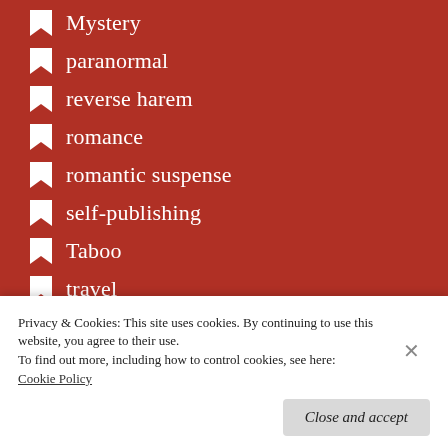Mystery
paranormal
reverse harem
romance
romantic suspense
self-publishing
Taboo
travel
Previous Posts
March 2021
Privacy & Cookies: This site uses cookies. By continuing to use this website, you agree to their use. To find out more, including how to control cookies, see here: Cookie Policy